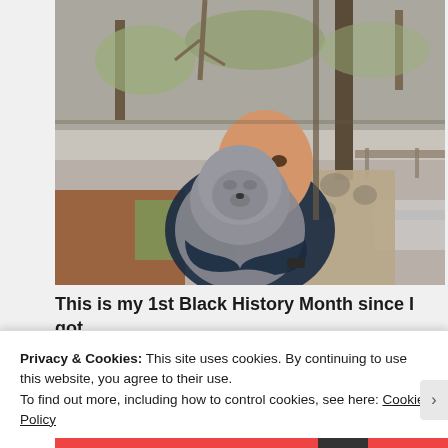[Figure (photo): A smiling man holding a gray fluffy dog, seated indoors near large windows with a wooded backyard visible outside. The man wears a dark t-shirt. There is a patterned armchair visible behind him.]
This is my 1st Black History Month since I got traded for Stacy Dash. Not sure what this picture
Privacy & Cookies: This site uses cookies. By continuing to use this website, you agree to their use.
To find out more, including how to control cookies, see here: Cookie Policy
Close and accept